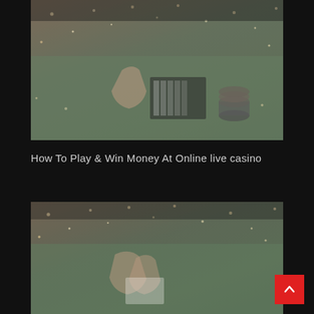[Figure (photo): Casino dealer scene from above showing hands with red nails on a card dealing shoe and poker chips on a green felt table, with bokeh sparkle light effects, muted/faded warm tones]
How To Play & Win Money At Online live casino
[Figure (photo): Casino scene showing hands dealing cards on green felt table, with bokeh sparkle light effects, faded warm tones, partially cropped at bottom of page]